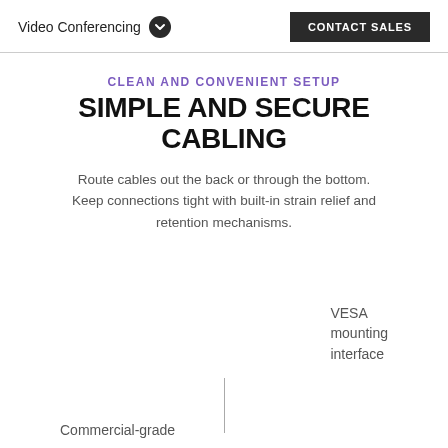Video Conferencing  CONTACT SALES
CLEAN AND CONVENIENT SETUP
SIMPLE AND SECURE CABLING
Route cables out the back or through the bottom. Keep connections tight with built-in strain relief and retention mechanisms.
VESA mounting interface
Commercial-grade